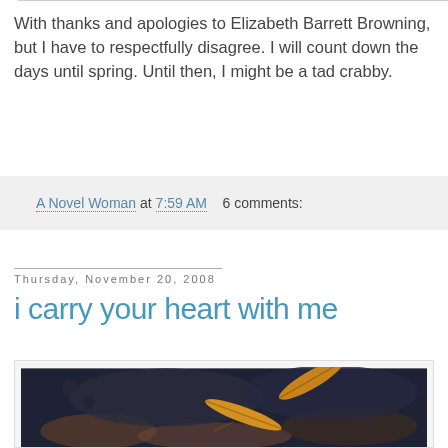With thanks and apologies to Elizabeth Barrett Browning, but I have to respectfully disagree. I will count down the days until spring. Until then, I might be a tad crabby.
A Novel Woman at 7:59 AM   6 comments:
Thursday, November 20, 2008
i carry your heart with me
[Figure (photo): Close-up photograph of fallen leaves on dark soil/ground, showing orange-brown leaves against a dark rocky or earthy background]